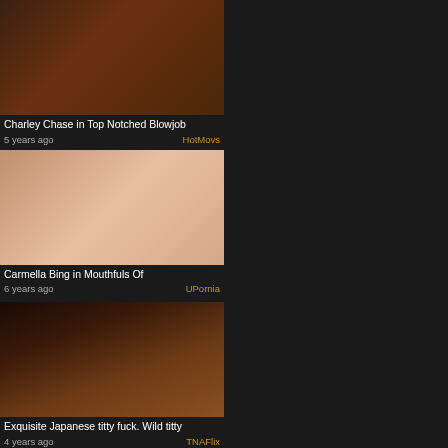[Figure (screenshot): Video thumbnail top left - Charley Chase in Top Notched Blowjob]
Charley Chase in Top Notched Blowjob
5 years ago | HotMovs
[Figure (screenshot): Video thumbnail top right - Carmella Bing in Mouthfuls Of]
Carmella Bing in Mouthfuls Of
6 years ago | UPornia
[Figure (screenshot): Video thumbnail mid left - Exquisite Japanese titty fuck. Wild titty]
Exquisite Japanese titty fuck. Wild titty
4 years ago | TNAFlix
[Figure (screenshot): Video thumbnail mid right - Steamy hot titty fuck. Appealing darling, duration 00:05:10]
Steamy hot titty fuck. Appealing darling
5 days ago | EmpFlix
[Figure (screenshot): Video thumbnail bot left - TittyAttack - Karlee Grey Gets Oiled, duration 00:08:13]
TittyAttack - Karlee Grey Gets Oiled
6 years ago | xHamster
[Figure (screenshot): Video thumbnail bot right - Puma Swede. We got a good one for]
Puma Swede. We got a good one for
5 years ago | HotMovs